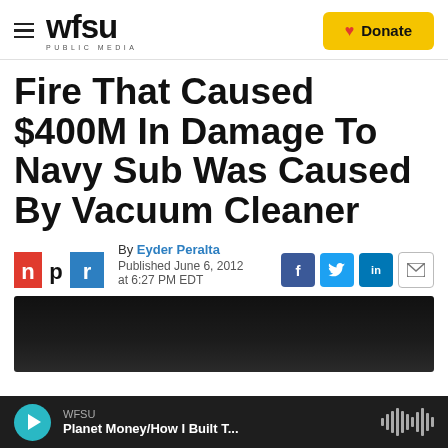WFSU PUBLIC MEDIA — Donate
Fire That Caused $400M In Damage To Navy Sub Was Caused By Vacuum Cleaner
By Eyder Peralta
Published June 6, 2012 at 6:27 PM EDT
[Figure (photo): Dark image area below the article header]
WFSU
Planet Money/How I Built T...